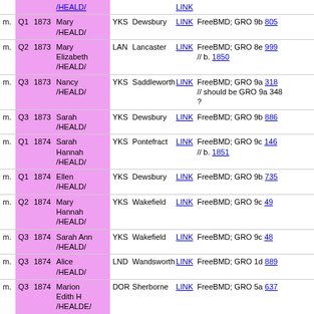| Type | Q | Year | Name | Cty | District | Link | Reference |
| --- | --- | --- | --- | --- | --- | --- | --- |
| m. | Q1 | 1873 | Mary /HEALD/ | YKS | Dewsbury | LINK | FreeBMD; GRO 9b 805 |
| m. | Q2 | 1873 | Mary Elizabeth /HEALD/ | LAN | Lancaster | LINK | FreeBMD; GRO 8e 999 // b. 1850 |
| m. | Q3 | 1873 | Nancy /HEALD/ | YKS | Saddleworth | LINK | FreeBMD; GRO 9a 318 // should be GRO 9a 348 ? |
| m. | Q3 | 1873 | Sarah /HEALD/ | YKS | Dewsbury | LINK | FreeBMD; GRO 9b 886 |
| m. | Q1 | 1874 | Sarah Hannah /HEALD/ | YKS | Pontefract | LINK | FreeBMD; GRO 9c 146 // b. 1851 |
| m. | Q1 | 1874 | Ellen /HEALD/ | YKS | Dewsbury | LINK | FreeBMD; GRO 9b 735 |
| m. | Q2 | 1874 | Mary Hannah /HEALD/ | YKS | Wakefield | LINK | FreeBMD; GRO 9c 49 |
| m. | Q3 | 1874 | Sarah Ann /HEALD/ | YKS | Wakefield | LINK | FreeBMD; GRO 9c 48 |
| m. | Q3 | 1874 | Alice /HEALD/ | LND | Wandsworth | LINK | FreeBMD; GRO 1d 889 |
| m. | Q3 | 1874 | Marion Edith H /HEALDE/ | DOR | Sherborne | LINK | FreeBMD; GRO 5a 637 |
| m. | Q3 | 1874 | Catherine Amelia /HEALD/ | LND | Islington | LINK | FreeBMD; GRO 1b 598 |
| m. | Q4 | 1874 | Johan /HILD/ | LND | Camberwell | LINK | FreeBMD; GRO 1d 1142 |
| m. | Q4 | 1874 | Mary /HEALD/ | LAN | Ulverston | LINK | FreeBMD; GRO 8e 1141 |
| m. | Q1 | 1875 | Helen /HEALD/ | LND | Bethnal Green | LINK | FreeBMD; GRO 1c 419 |
| m. | Q1 | 1875 | Mary /HEALD/ | SSX | Hastings | LINK | FreeBMD; GRO 2b 34 |
| m. | Q1 | 1875 | Mary | DRY | Chesterfield | LINK | FreeBMD; GRO 7b 901 |